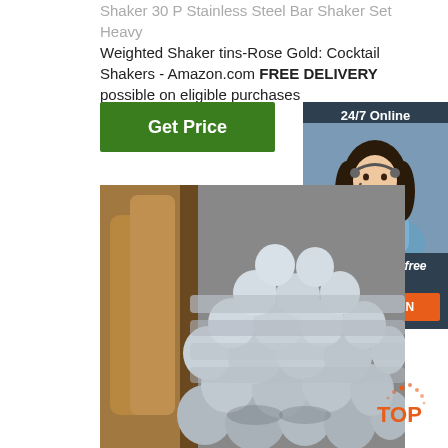Shaker 30 Pcs Stainless Steel Bar Shaker Set Heavy Weighted Shaker tins-Rose Gold: Cocktail Shakers - Amazon.com FREE DELIVERY possible on eligible purchases
[Figure (illustration): Green 'Get Price' button]
[Figure (photo): Customer service representative with headset, smiling, with '24/7 Online', 'Click here for free chat!', and 'QUOTATION' button overlay on dark blue background]
[Figure (photo): Stack of stainless steel round bars/rods piled together in a warehouse or industrial setting]
[Figure (logo): TOP logo with orange dots pattern in bottom right corner]